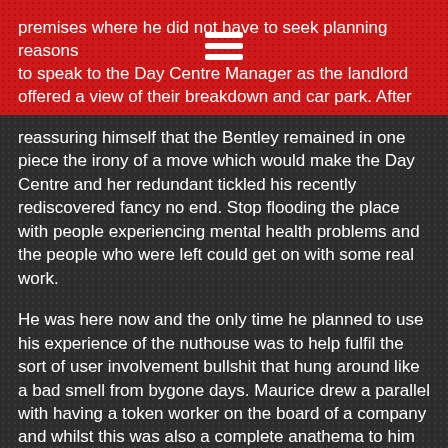premises where he did not have to seek planning reasons to speak to the Day Centre Manager as the landlord offered a view of their breakdown and car park. After reassuring himself that the Bentley remained in one piece the irony of a move which would make the Day Centre and her redundant tickled his recently rediscovered fancy no end. Stop flooding the place with people experiencing mental health problems and the people who were left could get on with some real work.
He was here now and the only time he planned to use his experience of the nuthouse was to help fulfil the sort of user involvement bullshit that hung around like a bad smell from bygone days. Maurice drew a parallel with having a token worker on the board of a company and whilst this was also a complete anathema to him at least they would have theoretically been sane. The last thing he needed when negotiating a deal was some bloke who thought he was Jesus baptising the Council's Head of Procurement in spittle. Not on his watch.
Or indeed his face. The gratitude which some service users